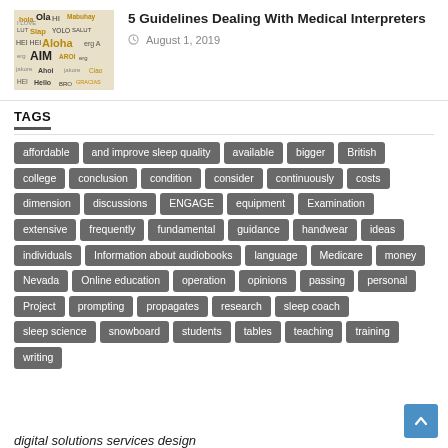[Figure (illustration): Thumbnail image with colorful text greeting words in different languages on a dark background, with yellow/gold and white lettering]
5 Guidelines Dealing With Medical Interpreters
August 1, 2019
TAGS
affordable
and improve sleep quality
available
bigger
British
college
conclusion
condition
consider
continuously
costs
dimension
discussions
ENGAGE
equipment
Examination
extensive
frequently
fundamental
guidance
handwear
ideas
individuals
Information about audiobooks
language
Medicare
money
Nevada
Online education
operation
opinions
passing
personal
Project
prompting
propagates
research
sleep coach
sleep science
snowboard
students
tables
teaching
training
writing
digital solutions services design